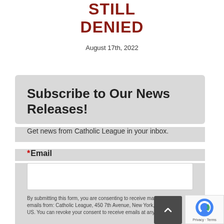STILL DENIED
August 17th, 2022
Subscribe to Our News Releases!
Get news from Catholic League in your inbox.
*Email
By submitting this form, you are consenting to receive marketing emails from: Catholic League, 450 7th Avenue, New York, NY, 1011... US. You can revoke your consent to receive emails at any time by